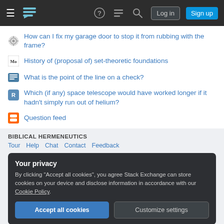Stack Exchange navigation bar with hamburger menu, logo, icons, Log in and Sign up buttons
How can I fix my garage door to stop it from rubbing with the frame?
History of (proposal of) set-theoretic foundations
What is the point of the line on a check?
Which (if any) space telescope would have worked longer if it hadn't simply run out of helium?
Question feed
BIBLICAL HERMENEUTICS
Tour  Help  Chat  Contact  Feedback
Your privacy
By clicking "Accept all cookies", you agree Stack Exchange can store cookies on your device and disclose information in accordance with our Cookie Policy.
Accept all cookies  Customize settings
Business  API  Data